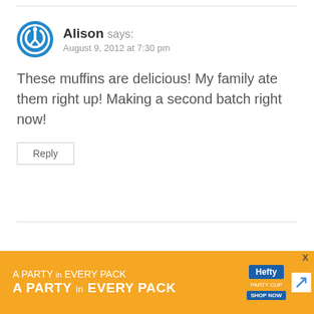Alison says: August 9, 2012 at 7:30 pm
These muffins are delicious! My family ate them right up! Making a second batch right now!
Reply
Pingback: Love is... happy bellies, knitted bliss, da...